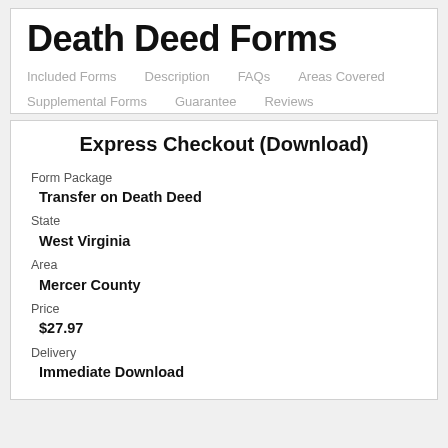Death Deed Forms
Included Forms
Description
FAQs
Areas Covered
Supplemental Forms
Guarantee
Reviews
Express Checkout (Download)
Form Package
Transfer on Death Deed
State
West Virginia
Area
Mercer County
Price
$27.97
Delivery
Immediate Download